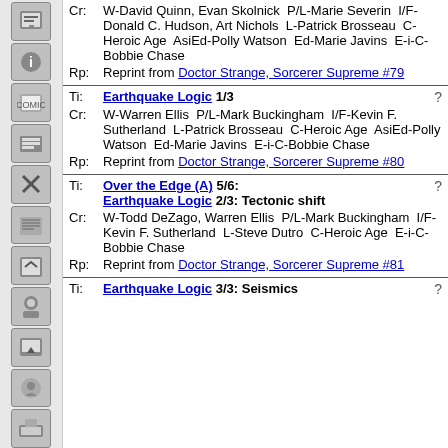Cr: W-David Quinn, Evan Skolnick P/L-Marie Severin I/F-Donald C. Hudson, Art Nichols L-Patrick Brosseau C-Heroic Age AsiEd-Polly Watson Ed-Marie Javins E-i-C-Bobbie Chase
Rp: Reprint from Doctor Strange, Sorcerer Supreme #79
Ti: Earthquake Logic 1/3
Cr: W-Warren Ellis P/L-Mark Buckingham I/F-Kevin F. Sutherland L-Patrick Brosseau C-Heroic Age AsiEd-Polly Watson Ed-Marie Javins E-i-C-Bobbie Chase
Rp: Reprint from Doctor Strange, Sorcerer Supreme #80
Ti: Over the Edge (A) 5/6: Earthquake Logic 2/3: Tectonic shift
Cr: W-Todd DeZago, Warren Ellis P/L-Mark Buckingham I/F-Kevin F. Sutherland L-Steve Dutro C-Heroic Age E-i-C-Bobbie Chase
Rp: Reprint from Doctor Strange, Sorcerer Supreme #81
Ti: Earthquake Logic 3/3: Seismics